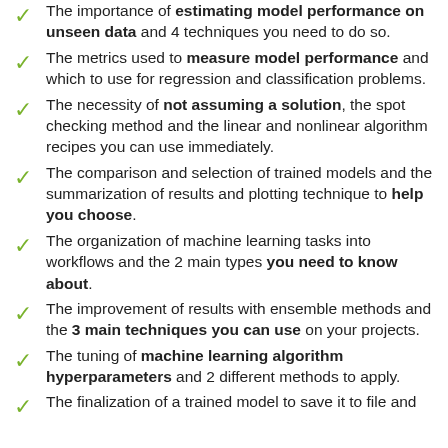The importance of estimating model performance on unseen data and 4 techniques you need to do so.
The metrics used to measure model performance and which to use for regression and classification problems.
The necessity of not assuming a solution, the spot checking method and the linear and nonlinear algorithm recipes you can use immediately.
The comparison and selection of trained models and the summarization of results and plotting technique to help you choose.
The organization of machine learning tasks into workflows and the 2 main types you need to know about.
The improvement of results with ensemble methods and the 3 main techniques you can use on your projects.
The tuning of machine learning algorithm hyperparameters and 2 different methods to apply.
The finalization of a trained model to save it to file and